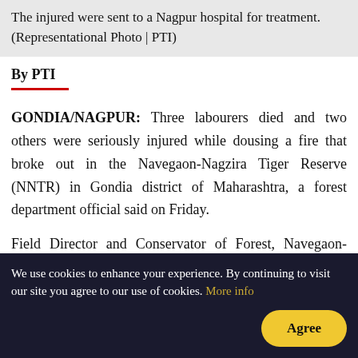The injured were sent to a Nagpur hospital for treatment. (Representational Photo | PTI)
By PTI
GONDIA/NAGPUR: Three labourers died and two others were seriously injured while dousing a fire that broke out in the Navegaon-Nagzira Tiger Reserve (NNTR) in Gondia district of Maharashtra, a forest department official said on Friday.
Field Director and Conservator of Forest, Navegaon-Nagzira Tiger Reserve, M Ramanujam, in a press release said, the fire was started by unidentified persons at around 11.30 am on Thursday in
We use cookies to enhance your experience. By continuing to visit our site you agree to our use of cookies. More info